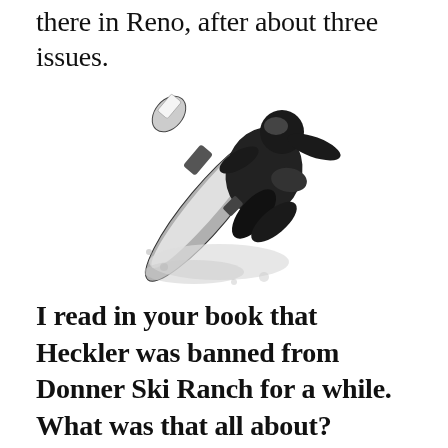there in Reno, after about three issues.
[Figure (photo): Black and white photograph of a snowboarder performing an aerial trick, rotating with the snowboard visible against a white snowy background.]
I read in your book that Heckler was banned from Donner Ski Ranch for a while. What was that all about?